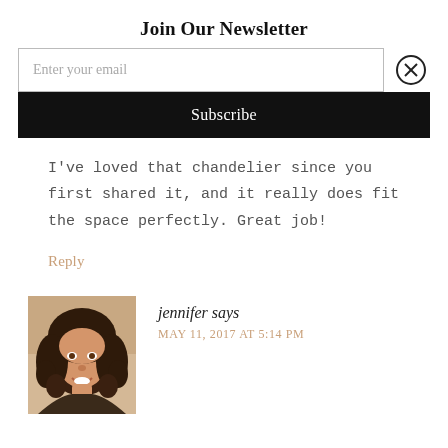Join Our Newsletter
Enter your email
Subscribe
I've loved that chandelier since you first shared it, and it really does fit the space perfectly. Great job!
Reply
[Figure (photo): Portrait photo of jennifer, a woman with dark curly hair, smiling]
jennifer says
MAY 11, 2017 AT 5:14 PM